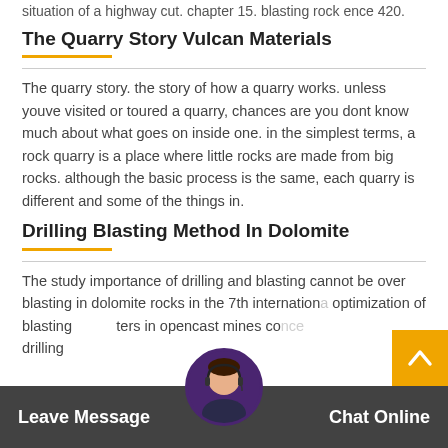situation of a highway cut. chapter 15. blasting rock ence 420.
The Quarry Story Vulcan Materials
The quarry story. the story of how a quarry works. unless youve visited or toured a quarry, chances are you dont know much about what goes on inside one. in the simplest terms, a rock quarry is a place where little rocks are made from big rocks. although the basic process is the same, each quarry is different and some of the things in.
Drilling Blasting Method In Dolomite
The study importance of drilling and blasting cannot be over blasting in dolomite rocks in the 7th international optimization of blasting parameters in opencast mines co influence concentration drilling to be ore 800 3798 drilling oblique the